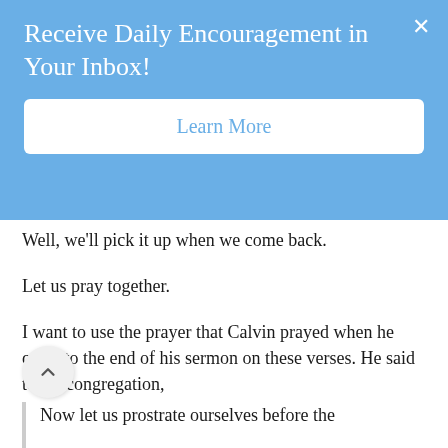Receive Daily Encouragement in Your Inbox!
Learn More
Well, we'll pick it up when we come back.
Let us pray together.
I want to use the prayer that Calvin prayed when he came to the end of his sermon on these verses. He said to his congregation,
Now let us prostrate ourselves before the